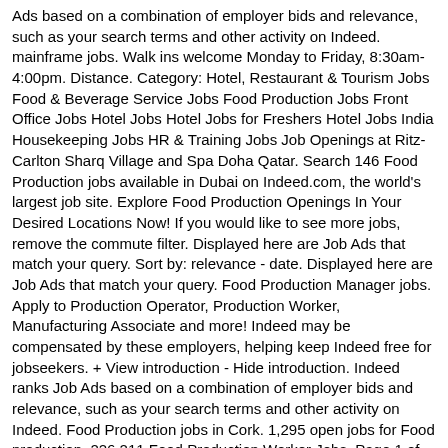Ads based on a combination of employer bids and relevance, such as your search terms and other activity on Indeed. mainframe jobs. Walk ins welcome Monday to Friday, 8:30am-4:00pm. Distance. Category: Hotel, Restaurant & Tourism Jobs Food & Beverage Service Jobs Food Production Jobs Front Office Jobs Hotel Jobs Hotel Jobs for Freshers Hotel Jobs India Housekeeping Jobs HR & Training Jobs Job Openings at Ritz-Carlton Sharq Village and Spa Doha Qatar. Search 146 Food Production jobs available in Dubai on Indeed.com, the world's largest job site. Explore Food Production Openings In Your Desired Locations Now! If you would like to see more jobs, remove the commute filter. Displayed here are Job Ads that match your query. Sort by: relevance - date. Displayed here are Job Ads that match your query. Food Production Manager jobs. Apply to Production Operator, Production Worker, Manufacturing Associate and more! Indeed may be compensated by these employers, helping keep Indeed free for jobseekers. + View introduction - Hide introduction. Indeed ranks Job Ads based on a combination of employer bids and relevance, such as your search terms and other activity on Indeed. Food Production jobs in Cork. 1,295 open jobs for Food production. 226,211 Food Production Worker Jobs. Page 1 of 14 jobs. Sort by: relevance - date. Indeed may be compensated by these employers, helping keep Indeed free for jobseekers. - Re... new. Displayed here are job ads that match your query. Indeed may be compensated by these employers, helping keep Indeed free for jobseekers. Bénéficiez de votre réseau professionnel et changez de